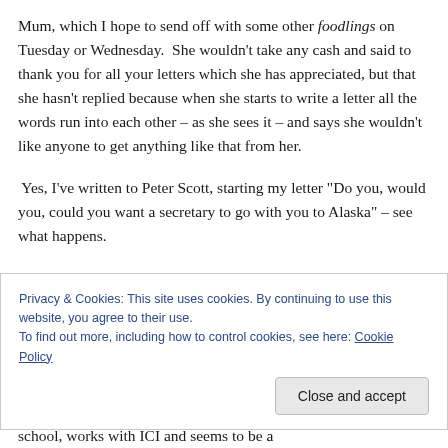Mum, which I hope to send off with some other foodlings on Tuesday or Wednesday.  She wouldn't take any cash and said to thank you for all your letters which she has appreciated, but that she hasn't replied because when she starts to write a letter all the words run into each other – as she sees it – and says she wouldn't like anyone to get anything like that from her.
Yes, I've written to Peter Scott, starting my letter "Do you, would you, could you want a secretary to go with you to Alaska" – see what happens.
Privacy & Cookies: This site uses cookies. By continuing to use this website, you agree to their use.
To find out more, including how to control cookies, see here: Cookie Policy
school, works with ICI and seems to be a